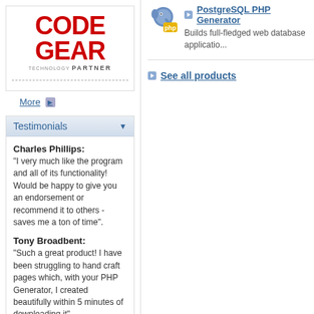[Figure (logo): CodeGear Technology Partner logo with red CODE GEAR text and partner badge]
More ▶
Testimonials
Charles Phillips:
"I very much like the program and all of its functionality! Would be happy to give you an endorsement or recommend it to others - saves me a ton of time".
Tony Broadbent:
"Such a great product! I have been struggling to hand craft pages which, with your PHP Generator, I created beautifully within 5 minutes of downloading it".
More ▶
[Figure (logo): PostgreSQL PHP Generator product icon with elephant and PHP badge]
PostgreSQL PHP Generator
Builds full-fledged web database applicatio...
See all products